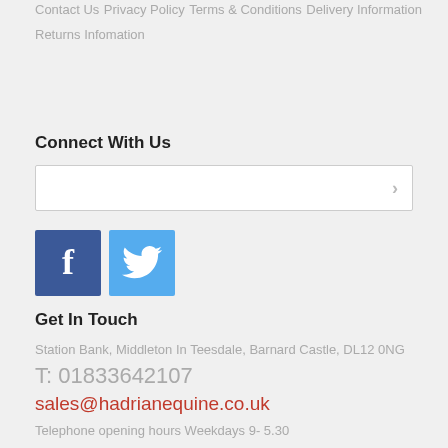Contact Us
Privacy Policy
Terms & Conditions
Delivery Information
Returns Infomation
Connect With Us
[Figure (other): Email input box with arrow button]
[Figure (other): Facebook and Twitter social media icon buttons]
Get In Touch
Station Bank, Middleton In Teesdale, Barnard Castle, DL12 0NG
T: 01833642107
sales@hadrianequine.co.uk
Telephone opening hours Weekdays 9- 5.30
Saturday 9-4